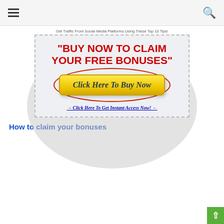Get Traffic From Social Media Platforms Using These Top 10 Tips!
[Figure (infographic): Promotional banner ad with dashed border and gray oval background. Large red bold text reads: "BUY NOW TO CLAIM YOUR FREE BONUSES". Below is a yellow gradient button with italic text "Click Here To Buy Now" surrounded by a red oval ring. Below the button is italic blue underlined text with arrows: "→ Click Here To Get Instant Access Now! ←"]
How to claim your bonuses